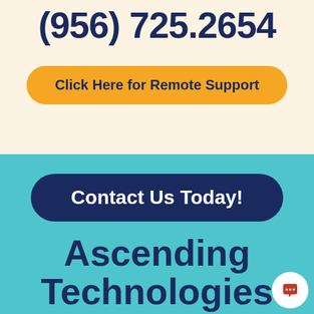(956) 725.2654
Click Here for Remote Support
Contact Us Today!
Ascending Technologies